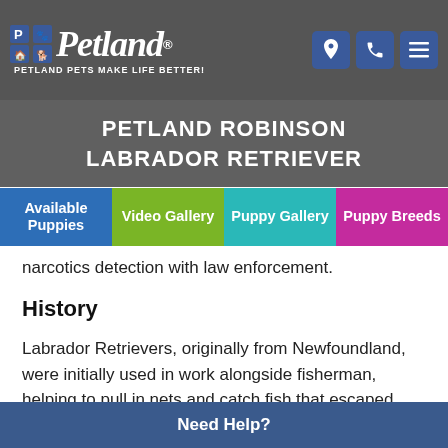Petland — PETLAND PETS MAKE LIFE BETTER!
PETLAND ROBINSON LABRADOR RETRIEVER
Available Puppies | Video Gallery | Puppy Gallery | Puppy Breeds
narcotics detection with law enforcement.
History
Labrador Retrievers, originally from Newfoundland, were initially used in work alongside fisherman, helping to pull in nets and catch fish that escaped from fishing lines. After being crossed with Setters, Spaniels and other Retrievers, the Labrador Retriever honed its skills as a true retriever. They havea stable temperament suitable for a variety of activities beyond hunting.
Need Help?